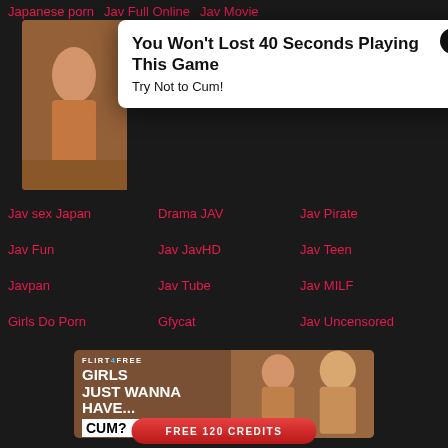Japanese porn   Jav Full Online   Jav Movie
[Figure (screenshot): Popup advertisement overlay with thumbnail image of woman. Popup text: You Won't Lost 40 Seconds Playing This Game / Try Not to Cum! with X close button.]
Jav sex Japan
Drama JAV
Jav Pirate
Jav Fun
Jav JavHD
Jav Teen
Javpan
Jav Tube
Jav MILF
Girls Do Porn
Gfycat
Jav Uncensored
[Figure (photo): FLIRT4FREE advertisement banner. Text: GIRLS JUST WANNA HAVE... CUM? with two women.]
FREE 120 CREDITS